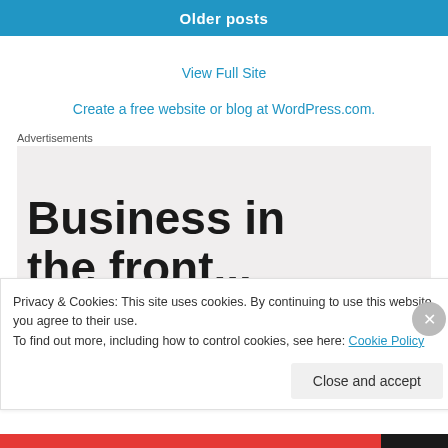Older posts
View Full Site
Create a free website or blog at WordPress.com.
Advertisements
[Figure (screenshot): Advertisement placeholder showing text 'Business in the front...' on a light grey background]
Privacy & Cookies: This site uses cookies. By continuing to use this website, you agree to their use.
To find out more, including how to control cookies, see here: Cookie Policy
Close and accept